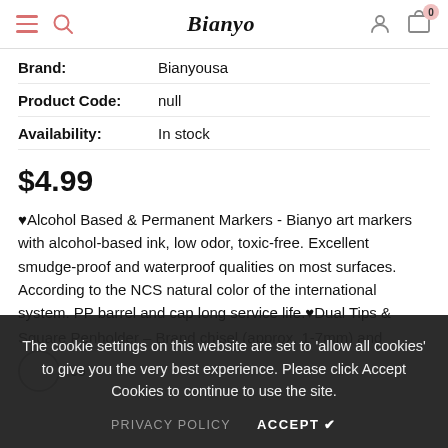Bianyo — navigation header with hamburger menu, search, logo, account, and cart (0 items)
| Brand: | Bianyousa |
| Product Code: | null |
| Availability: | In stock |
$4.99
♥Alcohol Based & Permanent Markers - Bianyo art markers with alcohol-based ink, low odor, toxic-free. Excellent smudge-proof and waterproof qualities on most surfaces. According to the NCS natural color of the international system. PP barrel and cap long service life.♥Dual Tips & Square Penholder – Brand chisel (approx. 1-7mm) and color
The cookie settings on this website are set to 'allow all cookies' to give you the very best experience. Please click Accept Cookies to continue to use the site.
PRIVACY POLICY    ACCEPT ✔